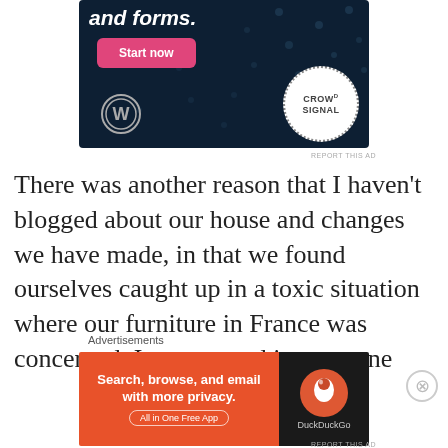[Figure (screenshot): Advertisement banner with dark navy background showing 'and forms.' text, a pink 'Start now' button, WordPress logo, and Crowdsignal circular logo with dotted border]
REPORT THIS AD
There was another reason that I haven't blogged about our house and changes we have made, in that we found ourselves caught up in a toxic situation where our furniture in France was concerned. It was stored in someone
Advertisements
[Figure (screenshot): DuckDuckGo advertisement: orange left panel with 'Search, browse, and email with more privacy. All in One Free App' and dark right panel with DuckDuckGo logo]
REPORT THIS AD